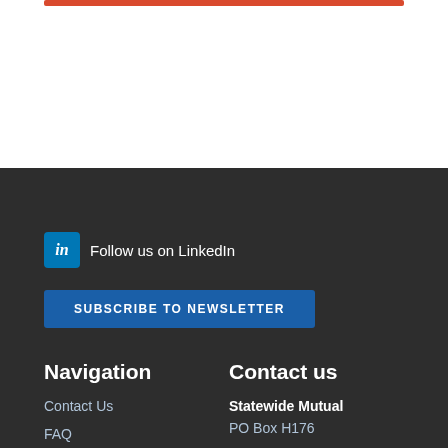Follow us on LinkedIn
SUBSCRIBE TO NEWSLETTER
Navigation
Contact us
Contact Us
FAQ
Statewide Mutual
PO Box H176